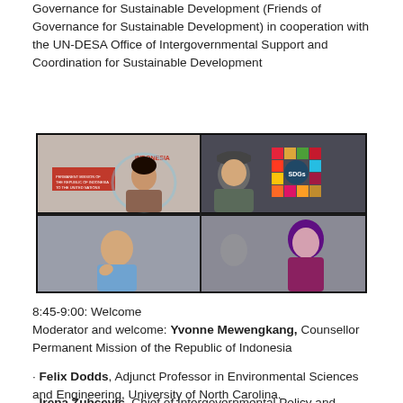Governance for Sustainable Development (Friends of Governance for Sustainable Development) in cooperation with the UN-DESA Office of Intergovernmental Support and Coordination for Sustainable Development
[Figure (photo): Screenshot of a video conference call showing four participants in a 2x2 grid: top-left a woman in front of an Indonesia SDG presentation slide, top-right a man in a cap with SDG wheel logo behind him, bottom-left a bald man in a blue shirt, bottom-right a woman with purple hair.]
8:45-9:00: Welcome
Moderator and welcome: Yvonne Mewengkang, Counsellor Permanent Mission of the Republic of Indonesia
• Felix Dodds, Adjunct Professor in Environmental Sciences and Engineering, University of North Carolina.
• Irena Zubcevic, Chief of Intergovernmental Policy and Review Branch at